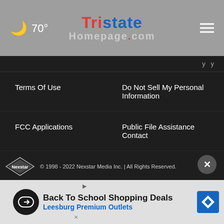70° Tristate Homepage.com
Terms Of Use
Do Not Sell My Personal Information
FCC Applications
Public File Assistance Contact
The Hill
NewsNation
BestReviews
Content Licensing
Nexstar Digital
© 1998 - 2022 Nexstar Media Inc. | All Rights Reserved.
[Figure (infographic): Back To School Shopping Deals - Leesburg Premium Outlets advertisement banner]